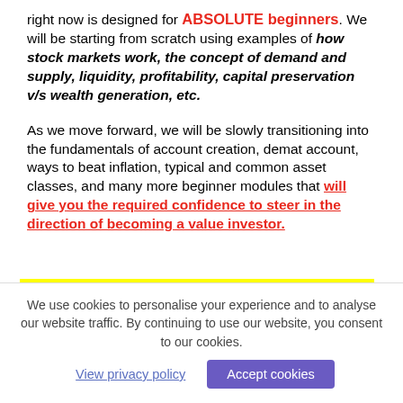right now is designed for ABSOLUTE beginners. We will be starting from scratch using examples of how stock markets work, the concept of demand and supply, liquidity, profitability, capital preservation v/s wealth generation, etc.
As we move forward, we will be slowly transitioning into the fundamentals of account creation, demat account, ways to beat inflation, typical and common asset classes, and many more beginner modules that will give you the required confidence to steer in the direction of becoming a value investor.
What All Will I Be Learning In
We use cookies to personalise your experience and to analyse our website traffic. By continuing to use our website, you consent to our cookies.